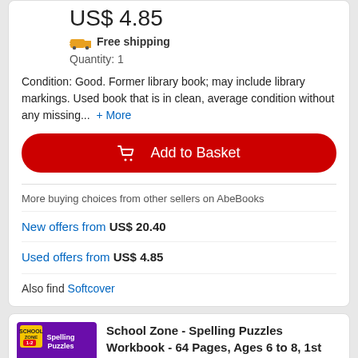US$ 4.85
Free shipping
Quantity: 1
Condition: Good. Former library book; may include library markings. Used book that is in clean, average condition without any missing...  + More
Add to Basket
More buying choices from other sellers on AbeBooks
New offers from US$ 20.40
Used offers from US$ 4.85
Also find Softcover
School Zone - Spelling Puzzles Workbook - 64 Pages, Ages 6 to 8, 1st Grade,...
School Zo...